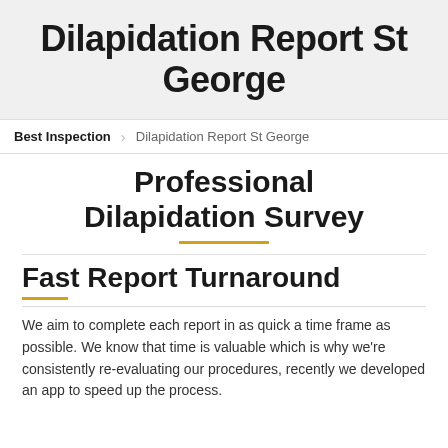Dilapidation Report St George
Best Inspection > Dilapidation Report St George
Professional Dilapidation Survey
Fast Report Turnaround
We aim to complete each report in as quick a time frame as possible. We know that time is valuable which is why we’re consistently re-evaluating our procedures, recently we developed an app to speed up the process.